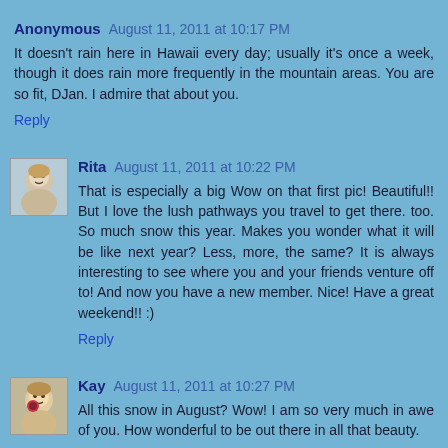Anonymous August 11, 2011 at 10:17 PM
It doesn't rain here in Hawaii every day; usually it's once a week, though it does rain more frequently in the mountain areas. You are so fit, DJan. I admire that about you.
Reply
[Figure (photo): Small avatar photo of Rita, a baby/child face]
Rita August 11, 2011 at 10:22 PM
That is especially a big Wow on that first pic! Beautiful!! But I love the lush pathways you travel to get there. too. So much snow this year. Makes you wonder what it will be like next year? Less, more, the same? It is always interesting to see where you and your friends venture off to! And now you have a new member. Nice! Have a great weekend!! :)
Reply
[Figure (photo): Small avatar photo of Kay, a child face]
Kay August 11, 2011 at 10:27 PM
All this snow in August? Wow! I am so very much in awe of you. How wonderful to be out there in all that beauty.